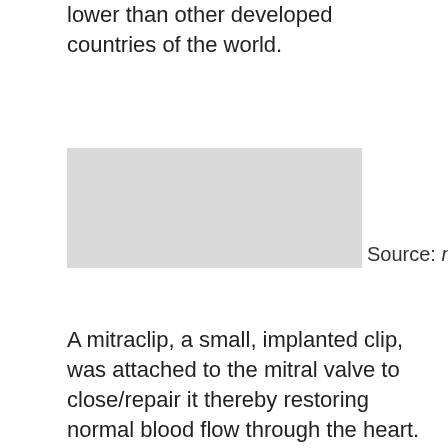lower than other developed countries of the world.
[Figure (photo): Grayscale medical image placeholder, partially visible, with source caption]
Source: maxhospitalindia.com
A mitraclip, a small, implanted clip, was attached to the mitral valve to close/repair it thereby restoring normal blood flow through the heart. Book an online appointment or video consultation now.
[Figure (photo): Second grayscale medical image placeholder, partially visible at bottom of page]
Source: